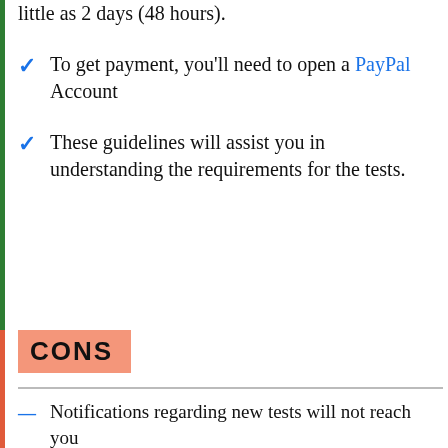little as 2 days (48 hours).
To get payment, you'll need to open a PayPal Account
These guidelines will assist you in understanding the requirements for the tests.
CONS
Notifications regarding new tests will not reach you
Log in to the platform to see if any tests are available.
When you're in Screener mode, it is difficult to know if you will pass screening mode.
Sometimes it can be hard to pass a test.
This job is not for those who want to make a full-time